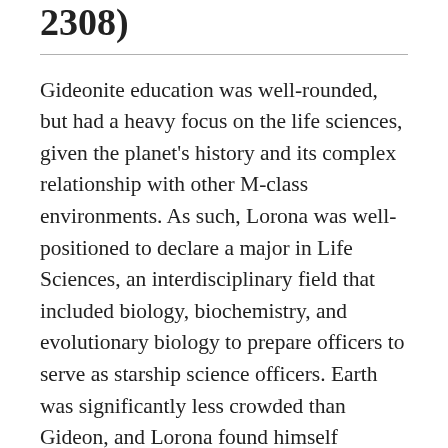2308)
Gideonite education was well-rounded, but had a heavy focus on the life sciences, given the planet's history and its complex relationship with other M-class environments. As such, Lorona was well-positioned to declare a major in Life Sciences, an interdisciplinary field that included biology, biochemistry, and evolutionary biology to prepare officers to serve as starship science officers. Earth was significantly less crowded than Gideon, and Lorona found himself marveling at the wide, open parklands and even just the grounds of Starfleet Academy for the first several months of his life there.
While antimatter power had solved the problem of scarcity on his homeworld, Gideonites were culturally conditioned to be extremely mindful of waste and excess, as the regimented life of